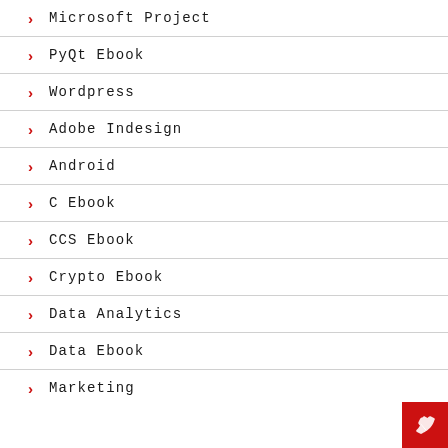Microsoft Project
PyQt Ebook
Wordpress
Adobe Indesign
Android
C Ebook
CCS Ebook
Crypto Ebook
Data Analytics
Data Ebook
Marketing